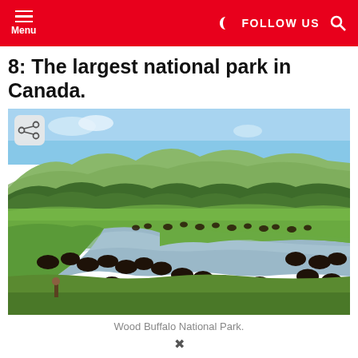Menu | FOLLOW US
8: The largest national park in Canada.
[Figure (photo): Herd of bison/buffalo crossing a river with green hills and forest in the background, Wood Buffalo National Park]
Wood Buffalo National Park.